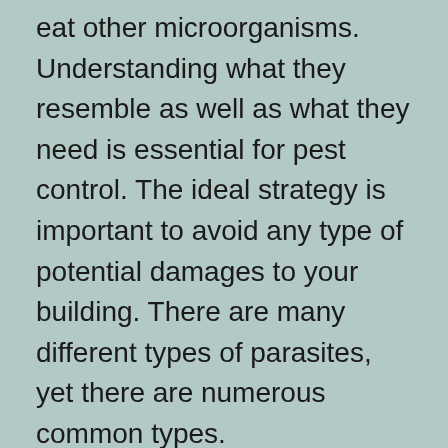eat other microorganisms. Understanding what they resemble as well as what they need is essential for pest control. The ideal strategy is important to avoid any type of potential damages to your building. There are many different types of parasites, yet there are numerous common types.
Along with a general technique, there are a few other kinds of insect control. One technique is to hunt the area for insects. This involves normal monitoring as well as identification of the pests. You ought to likewise know the sorts of insects that